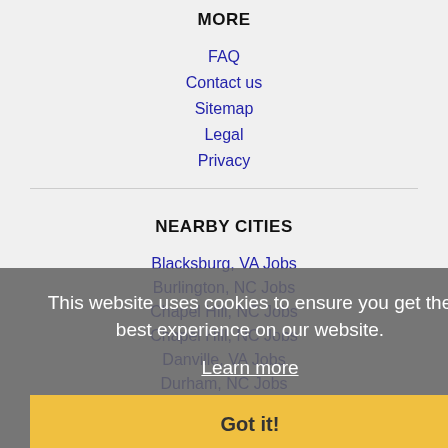MORE
FAQ
Contact us
Sitemap
Legal
Privacy
NEARBY CITIES
Blacksburg, VA Jobs
Burlington, NC Jobs
Chapel Hill, NC Jobs
Chapel Hill, NC Jobs
Danville, VA Jobs
Durham, NC Jobs
Fayetteville, NC Jobs
Gastonia, NC Jobs
This website uses cookies to ensure you get the best experience on our website. Learn more
Got it!